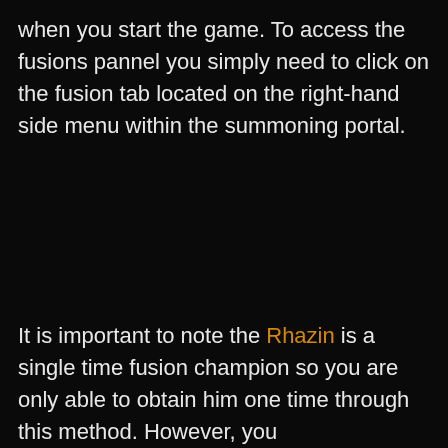when you start the game. To access the fusions pannel you simply need to click on the fusion tab located on the right-hand side menu within the summoning portal.
It is important to note the Rhazin is a single time fusion champion so you are only able to obtain him one time through this method. However, you